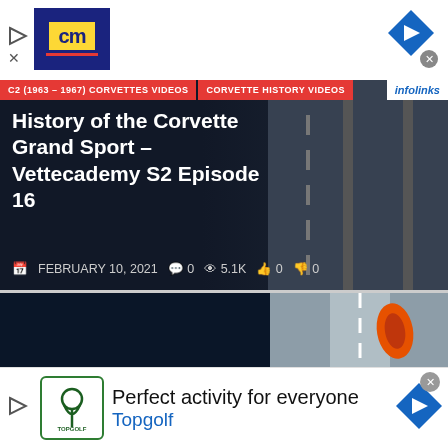[Figure (screenshot): Top advertisement banner with CM logo (yellow 'cm' text on dark blue background), play icon, close X icon, and a blue diamond arrow navigation button on the right]
[Figure (screenshot): Video card with dark background showing category tags 'C2 (1963-1967) CORVETTES VIDEOS' and 'CORVETTE HISTORY VIDEOS' in red, infolinks badge, road/track imagery on the right]
History of the Corvette Grand Sport – Vettecademy S2 Episode 16
FEBRUARY 10, 2021  0  5.1K  0  0
[Figure (screenshot): Second video card showing 'REVOLUTION: THE MID-ENGINE CORVETTE DEVELOPMENT STORY' title overlay on dark background, with aerial view of orange and red sports cars on track on the right side. Infolinks badge at bottom left.]
Revolution: The Mid-Engine Corvette
[Figure (screenshot): Bottom advertisement for Topgolf showing 'Perfect activity for everyone' tagline, Topgolf logo, play icon, and blue diamond arrow navigation button]
Perfect activity for everyone
Topgolf